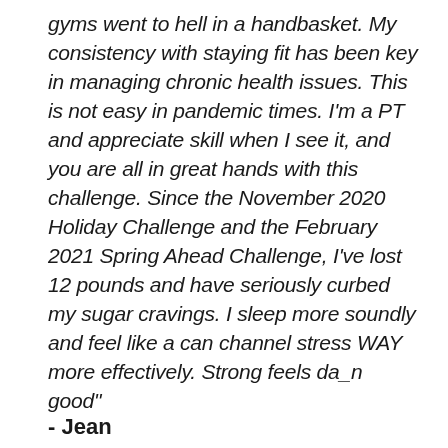gyms went to hell in a handbasket. My consistency with staying fit has been key in managing chronic health issues. This is not easy in pandemic times. I'm a PT and appreciate skill when I see it, and you are all in great hands with this challenge. Since the November 2020 Holiday Challenge and the February 2021 Spring Ahead Challenge, I've lost 12 pounds and have seriously curbed my sugar cravings. I sleep more soundly and feel like a can channel stress WAY more effectively. Strong feels da_n good"
- Jean